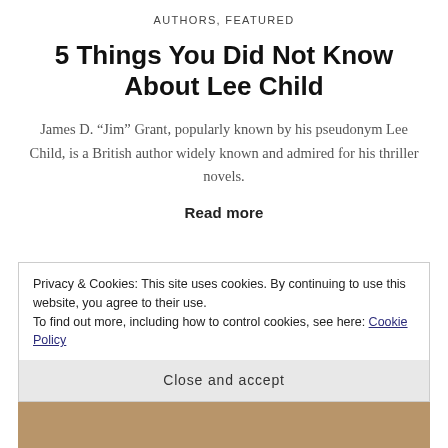AUTHORS, FEATURED
5 Things You Did Not Know About Lee Child
James D. “Jim” Grant, popularly known by his pseudonym Lee Child, is a British author widely known and admired for his thriller novels.
Read more
Privacy & Cookies: This site uses cookies. By continuing to use this website, you agree to their use.
To find out more, including how to control cookies, see here: Cookie Policy
Close and accept